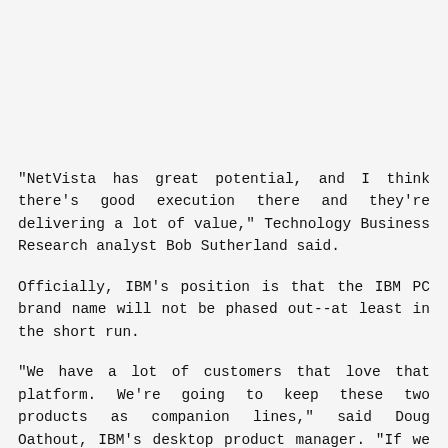"NetVista has great potential, and I think there's good execution there and they're delivering a lot of value," Technology Business Research analyst Bob Sutherland said.
Officially, IBM's position is that the IBM PC brand name will not be phased out--at least in the short run.
"We have a lot of customers that love that platform. We're going to keep these two products as companion lines," said Doug Oathout, IBM's desktop product manager. "If we add all the (NetVista) attributes to all of our products, we might call them NetVistas, but we're not sure yet."